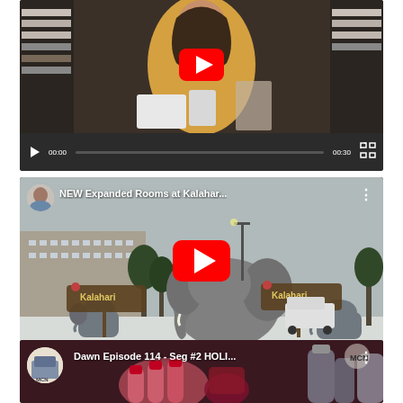[Figure (screenshot): YouTube video player 1: woman in yellow shirt thumbnail with red YouTube play button overlay, controls showing 00:00 / 00:30]
[Figure (screenshot): YouTube video player 2: 'NEW Expanded Rooms at Kalahar...' thumbnail showing Kalahari Resort signs and elephant statues in snow, controls showing 00:00 / 01:32]
[Figure (screenshot): YouTube video player 3: 'Dawn Episode 114 - Seg #2 HOLI...' thumbnail showing hands with red nail polish and bottles, MCN channel icon]